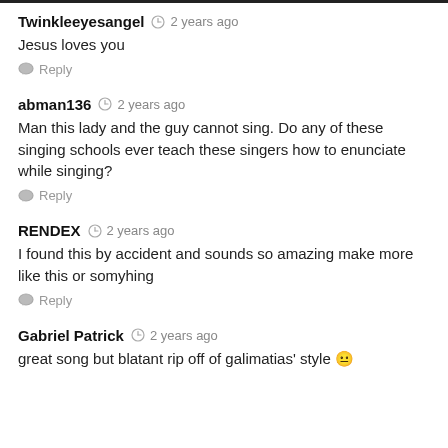Twinkleeyesangel  2 years ago
Jesus loves you
Reply
abman136  2 years ago
Man this lady and the guy cannot sing. Do any of these singing schools ever teach these singers how to enunciate while singing?
Reply
RENDEX  2 years ago
I found this by accident and sounds so amazing make more like this or somyhing
Reply
Gabriel Patrick  2 years ago
great song but blatant rip off of galimatias' style 😐